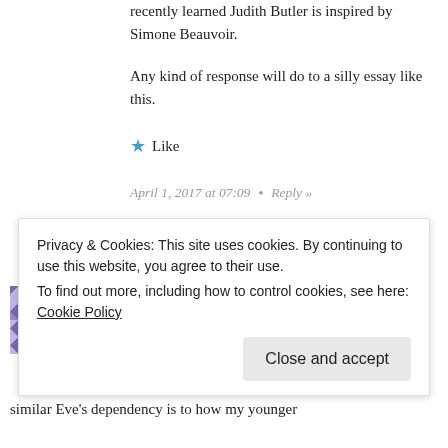recently learned Judith Butler is inspired by Simone Beauvoir.
Any kind of response will do to a silly essay like this.
★ Like
April 1, 2017 at 07:09  •  Reply »
SORAKUZE SAYS: Thanks for the thoughtful essay. That's interesting to read. I find it interesting in regard Adam and Eve case, that they choose to
Privacy & Cookies: This site uses cookies. By continuing to use this website, you agree to their use.
To find out more, including how to control cookies, see here: Cookie Policy
Close and accept
similar Eve's dependency is to how my younger